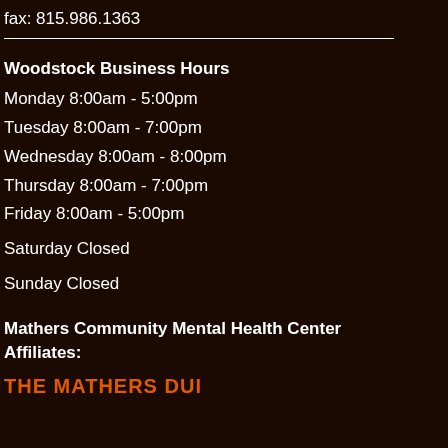fax: 815.986.1363
Woodstock Business Hours
Monday 8:00am - 5:00pm
Tuesday 8:00am - 7:00pm
Wednesday 8:00am - 8:00pm
Thursday 8:00am - 7:00pm
Friday 8:00am - 5:00pm
Saturday Closed
Sunday Closed
Mathers Community Mental Health Center Affiliates:
THE MATHERS DUI